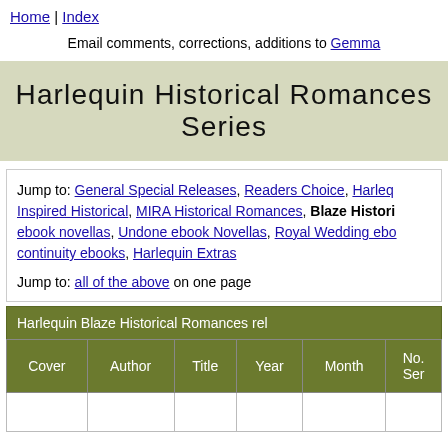Home | Index
Email comments, corrections, additions to Gemma
Harlequin Historical Romances Series
Jump to: General Special Releases, Readers Choice, Harlequin Inspired Historical, MIRA Historical Romances, Blaze Historical ebook novellas, Undone ebook Novellas, Royal Wedding ebo... continuity ebooks, Harlequin Extras
Jump to: all of the above on one page
| Cover | Author | Title | Year | Month | No. Ser... |
| --- | --- | --- | --- | --- | --- |
|  |  |  |  |  |  |